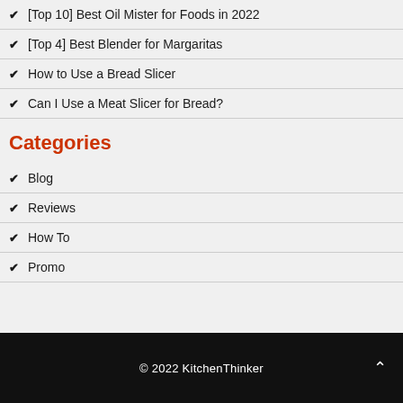[Top 10] Best Oil Mister for Foods in 2022
[Top 4] Best Blender for Margaritas
How to Use a Bread Slicer
Can I Use a Meat Slicer for Bread?
Categories
Blog
Reviews
How To
Promo
© 2022 KitchenThinker